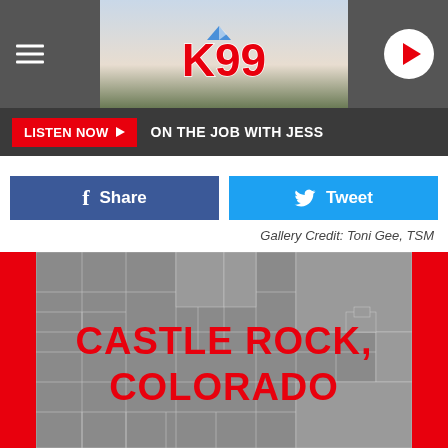[Figure (screenshot): K99 radio station website header with mountain/sky background, hamburger menu on left, K99 logo in center, play button on right]
LISTEN NOW ▶   ON THE JOB WITH JESS
[Figure (screenshot): Facebook Share button (blue) and Twitter Tweet button (blue)]
Gallery Credit: Toni Gee, TSM
[Figure (map): Gray map of Colorado counties with red text overlay reading CASTLE ROCK, COLORADO, set against red background side panels]